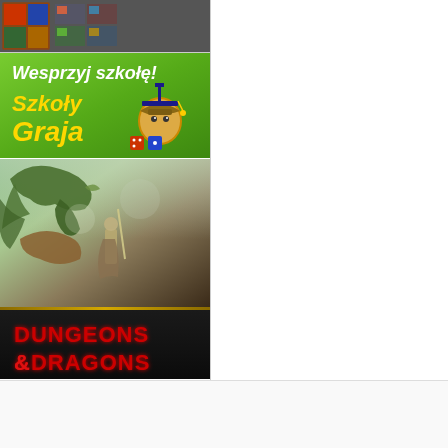[Figure (screenshot): Top image mosaic strip showing game/product thumbnails]
[Figure (illustration): Green banner advertisement - Wesprzyj szkołę! Szkoły Grają - with cartoon acorn character wearing graduation cap]
[Figure (illustration): Dungeons & Dragons banner with fantasy dragon art and warrior, red D&D logo text at bottom on dark background]
rebel
All rights reserved © 2012
Sklep REBEL.pl
O firmie
Polityka prywatności
Nasze se
Wersja
Wyda